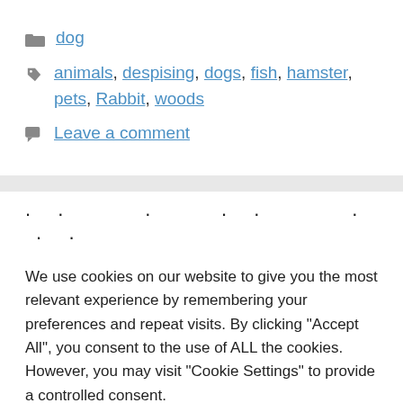dog
animals, despising, dogs, fish, hamster, pets, Rabbit, woods
Leave a comment
We use cookies on our website to give you the most relevant experience by remembering your preferences and repeat visits. By clicking “Accept All”, you consent to the use of ALL the cookies. However, you may visit "Cookie Settings" to provide a controlled consent.
Cookie Settings   Accept All